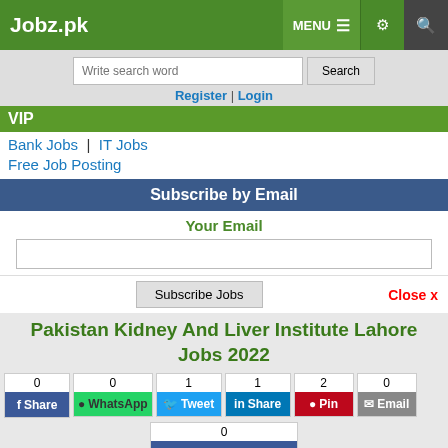Jobz.pk | MENU | (settings) | (search)
Write search word | Search
Register | Login
VIP
Bank Jobs | IT Jobs
Free Job Posting
Subscribe by Email
Your Email
Subscribe Jobs
Close x
Pakistan Kidney And Liver Institute Lahore Jobs 2022
0 Share | 0 WhatsApp | 1 Tweet | 1 Share | 2 Pin | 0 Email
0 Recommend
Job Closed | Save | Comment | Print
2022